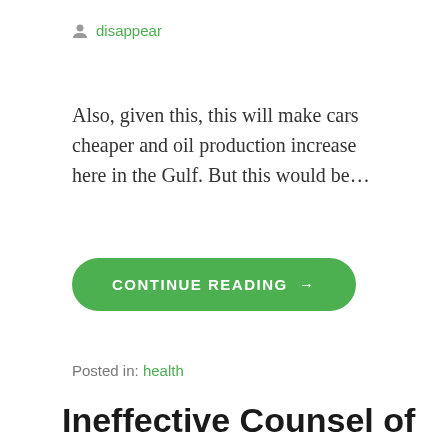disappear
Also, given this, this will make cars cheaper and oil production increase here in the Gulf. But this would be…
CONTINUE READING →
Posted in: health
Ineffective Counsel of Herman &